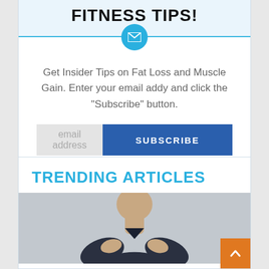FITNESS TIPS!
Get Insider Tips on Fat Loss and Muscle Gain. Enter your email addy and click the "Subscribe" button.
TRENDING ARTICLES
[Figure (photo): A person in a dark sleeveless shirt flexing or crossing arms, partially cropped at bottom]